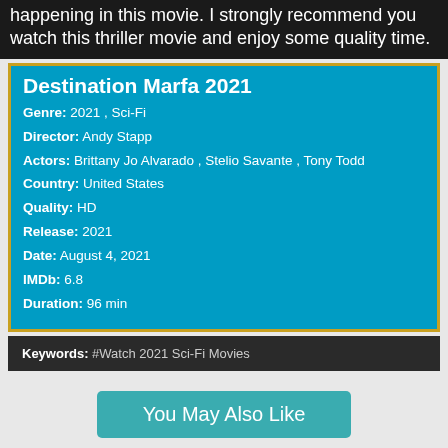happening in this movie. I strongly recommend you watch this thriller movie and enjoy some quality time.
Destination Marfa 2021
Genre: 2021 , Sci-Fi
Director: Andy Stapp
Actors: Brittany Jo Alvarado , Stelio Savante , Tony Todd
Country: United States
Quality: HD
Release: 2021
Date: August 4, 2021
IMDb: 6.8
Duration: 96 min
Keywords: #Watch 2021 Sci-Fi Movies
You May Also Like